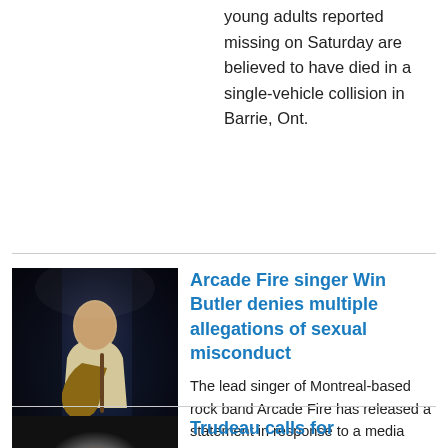young adults reported missing on Saturday are believed to have died in a single-vehicle collision in Barrie, Ont.
[Figure (photo): Concert performer playing guitar on a dark stage, wearing a light-colored jacket]
Arcade Fire singer Win Butler denies multiple allegations of sexual misconduct
The lead singer of Montreal-based rock band Arcade Fire has released a statement in response to a media report that includes multiple allegations of sexual misconduct.
[Figure (photo): Portrait photo of a person, partially visible at bottom of page]
Trudeau calls for